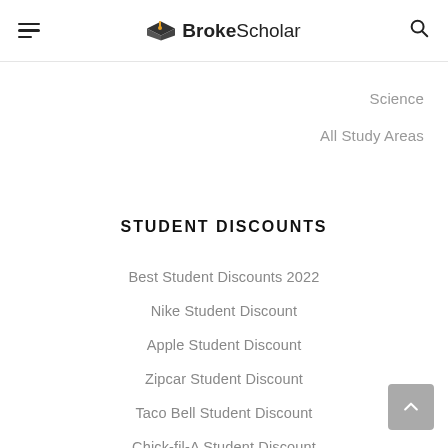BrokeScholar
Science
All Study Areas
STUDENT DISCOUNTS
Best Student Discounts 2022
Nike Student Discount
Apple Student Discount
Zipcar Student Discount
Taco Bell Student Discount
Chick-fil-A Student Discount